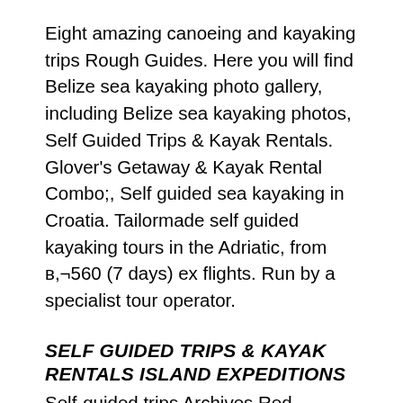Eight amazing canoeing and kayaking trips Rough Guides. Here you will find Belize sea kayaking photo gallery, including Belize sea kayaking photos, Self Guided Trips & Kayak Rentals. Glover's Getaway & Kayak Rental Combo;, Self guided sea kayaking in Croatia. Tailormade self guided kayaking tours in the Adriatic, from в,¬560 (7 days) ex flights. Run by a specialist tour operator.
SELF GUIDED TRIPS & KAYAK RENTALS ISLAND EXPEDITIONS
Self-guided trips Archives Red Adventures Croatia. We also offer custom group itineraries, self-guided kayak trips and rentals, and specialized programs for high schools, Belize